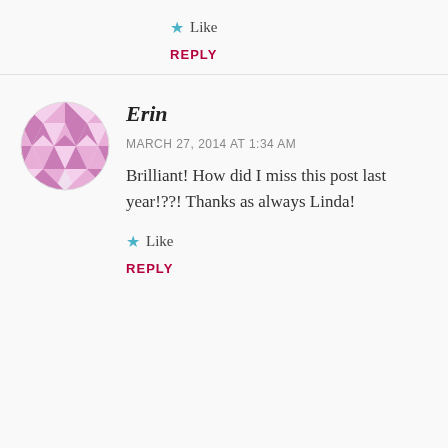Like
REPLY
[Figure (illustration): Circular avatar with a pink/mauve geometric quilt pattern design]
Erin
MARCH 27, 2014 AT 1:34 AM
Brilliant! How did I miss this post last year!??! Thanks as always Linda!
Like
REPLY